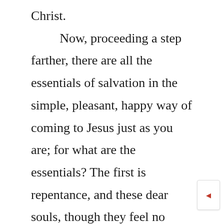Christ.

Now, proceeding a step farther, there are all the essentials of salvation in the simple, pleasant, happy way of coming to Jesus just as you are; for what are the essentials? The first is repentance, and these dear souls, though they feel no remorse, yet hate the sin they once loved. Though they know no dread of hell, yet they feel a dread of sin, which is a great deal better. Though they have never stood shivering under the gallows, yet the crime is more dreadful to them than the doom.